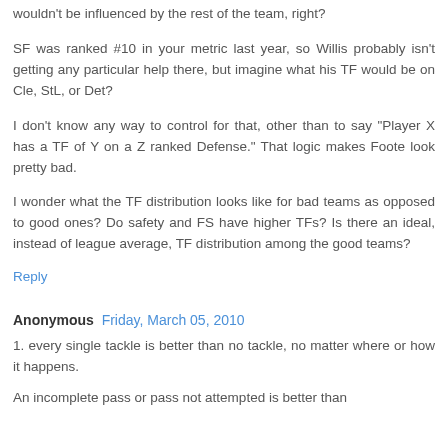wouldn't be influenced by the rest of the team, right?
SF was ranked #10 in your metric last year, so Willis probably isn't getting any particular help there, but imagine what his TF would be on Cle, StL, or Det?
I don't know any way to control for that, other than to say "Player X has a TF of Y on a Z ranked Defense." That logic makes Foote look pretty bad.
I wonder what the TF distribution looks like for bad teams as opposed to good ones? Do safety and FS have higher TFs? Is there an ideal, instead of league average, TF distribution among the good teams?
Reply
Anonymous Friday, March 05, 2010
1. every single tackle is better than no tackle, no matter where or how it happens.
An incomplete pass or pass not attempted is better than...